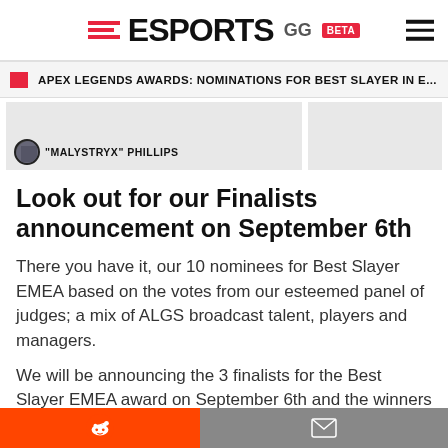ESPORTS GG BETA
APEX LEGENDS AWARDS: NOMINATIONS FOR BEST SLAYER IN E...
[Figure (photo): Article image area showing author avatar and name: 'MALYSTRYX' PHILLIPS]
Look out for our Finalists announcement on September 6th
There you have it, our 10 nominees for Best Slayer EMEA based on the votes from our esteemed panel of judges; a mix of ALGS broadcast talent, players and managers.
We will be announcing the 3 finalists for the Best Slayer EMEA award on September 6th and the winners on Septemb…